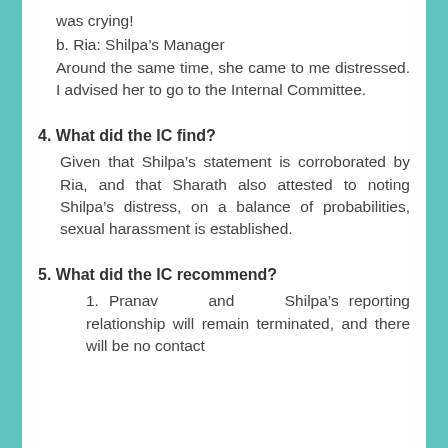was crying!
b. Ria: Shilpa’s Manager Around the same time, she came to me distressed. I advised her to go to the Internal Committee.
4. What did the IC find?
Given that Shilpa’s statement is corroborated by Ria, and that Sharath also attested to noting Shilpa’s distress, on a balance of probabilities, sexual harassment is established.
5. What did the IC recommend?
1. Pranav and Shilpa’s reporting relationship will remain terminated, and there will be no contact